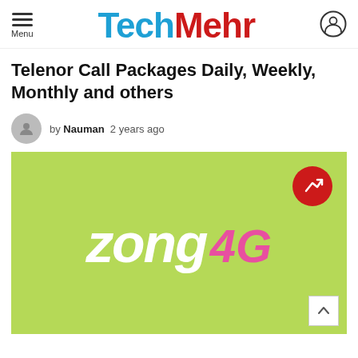Menu | TechMehr
Telenor Call Packages Daily, Weekly, Monthly and others
by Nauman  2 years ago
[Figure (logo): Zong 4G logo on green background with red trending arrow badge and scroll-to-top button]